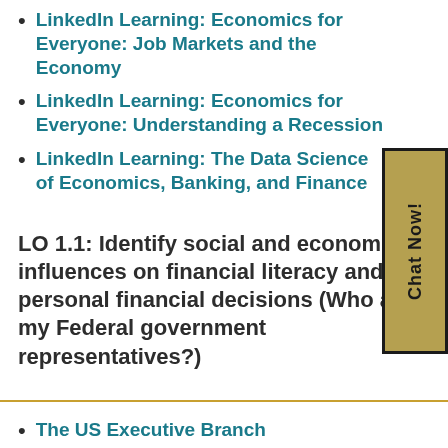LinkedIn Learning: Economics for Everyone: Job Markets and the Economy
LinkedIn Learning: Economics for Everyone: Understanding a Recession
LinkedIn Learning: The Data Science of Economics, Banking, and Finance
LO 1.1: Identify social and economic influences on financial literacy and personal financial decisions (Who are my Federal government representatives?)
The US Executive Branch